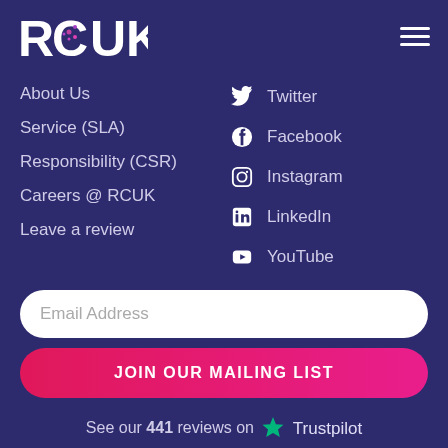RCUK
About Us
Service (SLA)
Responsibility (CSR)
Careers @ RCUK
Leave a review
Twitter
Facebook
Instagram
LinkedIn
YouTube
Email Address
JOIN OUR MAILING LIST
See our 441 reviews on Trustpilot